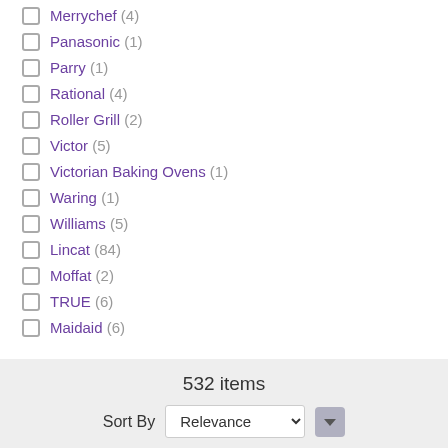Merrychef (4)
Panasonic (1)
Parry (1)
Rational (4)
Roller Grill (2)
Victor (5)
Victorian Baking Ovens (1)
Waring (1)
Williams (5)
Lincat (84)
Moffat (2)
TRUE (6)
Maidaid (6)
532 items
Sort By Relevance